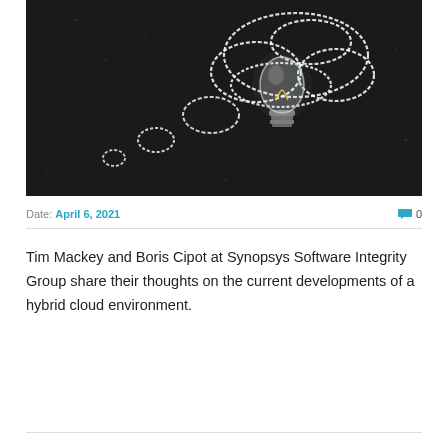[Figure (photo): A lightbulb placed on a dark blackboard with chalk-drawn thought bubble circles around it, suggesting the concept of ideas or thinking.]
Date: April 6, 2021   💬 0
Tim Mackey and Boris Cipot at Synopsys Software Integrity Group share their thoughts on the current developments of a hybrid cloud environment.